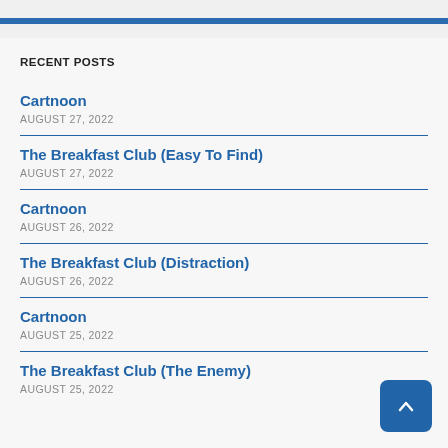RECENT POSTS
Cartnoon
AUGUST 27, 2022
The Breakfast Club (Easy To Find)
AUGUST 27, 2022
Cartnoon
AUGUST 26, 2022
The Breakfast Club (Distraction)
AUGUST 26, 2022
Cartnoon
AUGUST 25, 2022
The Breakfast Club (The Enemy)
AUGUST 25, 2022